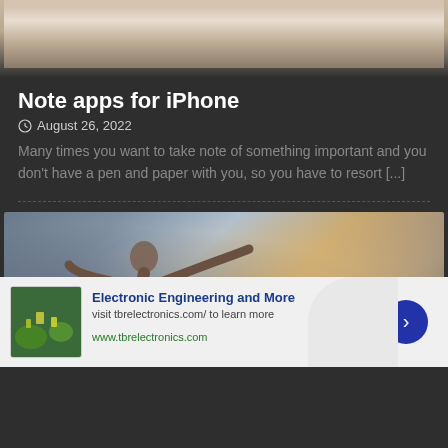[Figure (photo): Top portion of a photo showing what appears to be a laptop or device on a wooden surface, partially cropped]
Note apps for iPhone
August 26, 2022
Many times you want to take note of something important and you don't have a pen and paper with you, so you have to resort [...]
[Figure (photo): Photo of a person doing a yoga or stretching pose, bending sideways with one arm extended, in a room with windows and plants in the background]
[Figure (other): Advertisement banner: Electronic Engineering and More, visit tbrelectronics.com/ to learn more, www.tbrelectronics.com, with a thumbnail image of electronics/circuit board from aerial view]